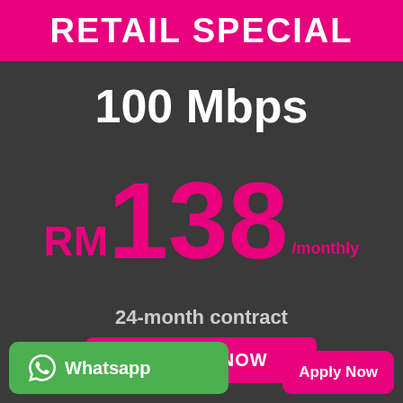RETAIL SPECIAL
100 Mbps
RM138/monthly
24-month contract
SIGN UP NOW
Whatsapp
Apply Now